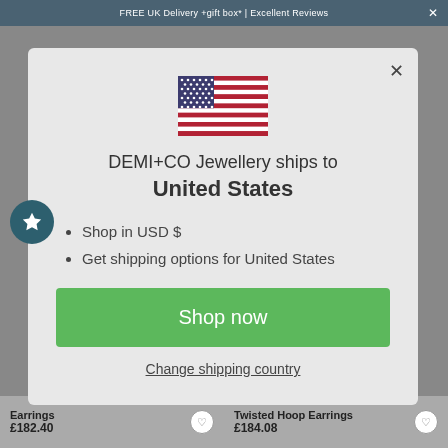FREE UK Delivery +gift box* | Excellent Reviews
[Figure (screenshot): US flag emoji displayed in modal]
DEMI+CO Jewellery ships to United States
Shop in USD $
Get shipping options for United States
Shop now
Change shipping country
Earrings £182.40
Twisted Hoop Earrings £184.08